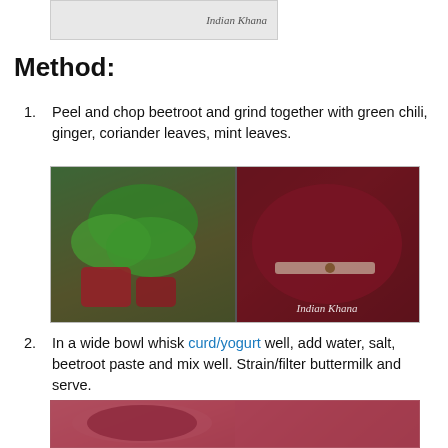[Figure (photo): Partial image at top showing 'Indian Khana' watermark text on a light grey background]
Method:
1. Peel and chop beetroot and grind together with green chili, ginger, coriander leaves, mint leaves.
[Figure (photo): Two-panel food photo: left panel shows a blender jar with green herbs (mint/coriander) and red beetroot chunks; right panel shows the same jar with dark red-purple ground beetroot paste. Watermark 'Indian Khana' in bottom right.]
2. In a wide bowl whisk curd/yogurt well, add water, salt, beetroot paste and mix well. Strain/filter buttermilk and serve.
[Figure (photo): Two-panel food photo: left panel shows a dark bowl with pink/red buttermilk drink; right panel shows a small strainer/sieve with dark red beetroot paste residue being strained.]